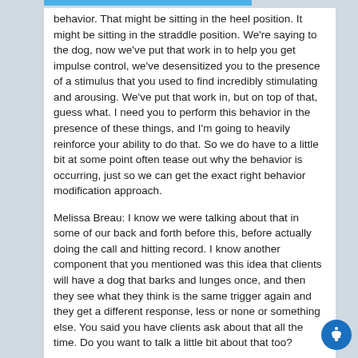behavior. That might be sitting in the heel position. It might be sitting in the straddle position. We're saying to the dog, now we've put that work in to help you get impulse control, we've desensitized you to the presence of a stimulus that you used to find incredibly stimulating and arousing. We've put that work in, but on top of that, guess what. I need you to perform this behavior in the presence of these things, and I'm going to heavily reinforce your ability to do that. So we do have to a little bit at some point often tease out why the behavior is occurring, just so we can get the exact right behavior modification approach.
Melissa Breau: I know we were talking about that in some of our back and forth before this, before actually doing the call and hitting record. I know another component that you mentioned was this idea that clients will have a dog that barks and lunges once, and then they see what they think is the same trigger again and they get a different response, less or none or something else. You said you have clients ask about that all the time. Do you want to talk a little bit about that too?
Sharon Carroll: Of course. It is a common question. It's a super-common question, but I think this is because as humans we try to work out why the dog is doing it. So we go, our dog's lunging at bicycles, okay, but why does it sometimes lunge at bicycles and not at other times. Our dog is lunging at other dogs and we're looking for a specific thing. Is it big dogs, is it small dogs, is it fluffy dogs? We're trying to work out is there an obvious visual trigger that we can predict, and